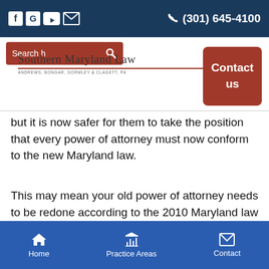f G [youtube] [mail] (301) 645-4100
[Figure (screenshot): Search bar with magnifying glass icon on dark red background]
[Figure (logo): Southern Maryland Law logo with subtitle ANDREWS, BONGAR, GORMLEY & CLAGETT, PA, with contact us button]
but it is now safer for them to take the position that every power of attorney must now conform to the new Maryland law.
This may mean your old power of attorney needs to be redone according to the 2010 Maryland law for the purely practical reason of making sure the bank takes it!
Home   Practice Areas   Contact